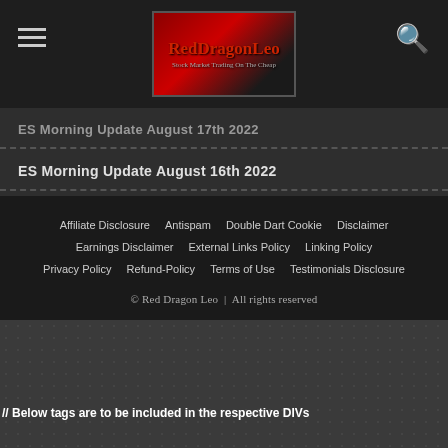Red Dragon Leo — site header with logo, hamburger menu, search icon
ES Morning Update August 17th 2022
ES Morning Update August 16th 2022
ES Morning Update August 15th 2022
Affiliate Disclosure  Antispam  Double Dart Cookie  Disclaimer  Earnings Disclaimer  External Links Policy  Linking Policy  Privacy Policy  Refund-Policy  Terms of Use  Testimonials Disclosure
© Red Dragon Leo | All rights reserved
// Below tags are to be included in the respective DIVs